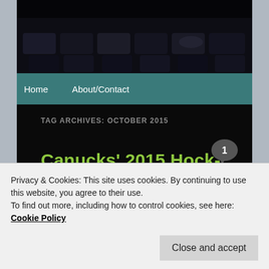[Figure (photo): Dark header photo showing stadium seats/arena seating in low light]
Home   About/Contact
TAG ARCHIVES: OCTOBER 2015
Canucks' 2015 Hocktober
Posted on November 1, 2015
Privacy & Cookies: This site uses cookies. By continuing to use this website, you agree to their use.
To find out more, including how to control cookies, see here: Cookie Policy
Close and accept